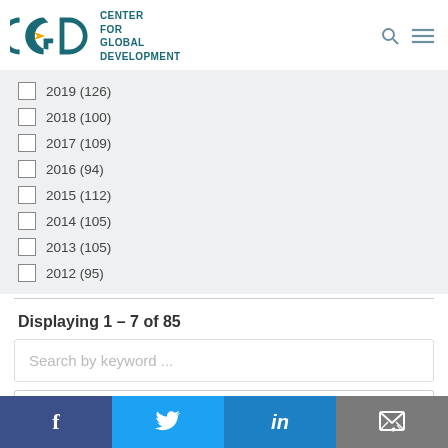[Figure (logo): Center for Global Development (CGD) logo with teal CGD letters and yellow arrow symbol]
2019 (126)
2018 (100)
2017 (109)
2016 (94)
2015 (112)
2014 (105)
2013 (105)
2012 (95)
Displaying 1 – 7 of 85
Search by keyword ...
Apply